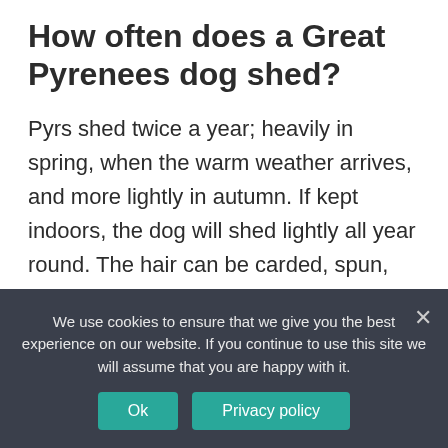How often does a Great Pyrenees dog shed?
Pyrs shed twice a year; heavily in spring, when the warm weather arrives, and more lightly in autumn. If kept indoors, the dog will shed lightly all year round. The hair can be carded, spun, and woven into beautifully soft and very warm mitts, socks, headbands, and even sweaters. 3.
How old do Great Pyrenees have to be to train?
We use cookies to ensure that we give you the best experience on our website. If you continue to use this site we will assume that you are happy with it.